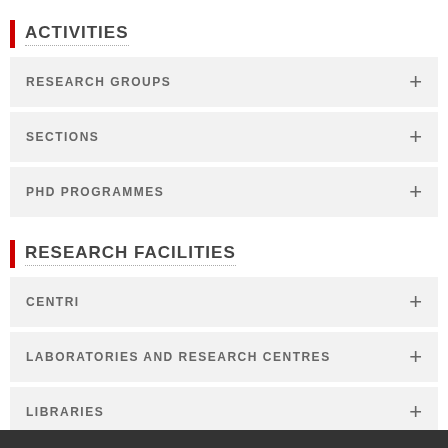ACTIVITIES
RESEARCH GROUPS
SECTIONS
PHD PROGRAMMES
RESEARCH FACILITIES
CENTRI
LABORATORIES AND RESEARCH CENTRES
LIBRARIES
Contacts
People